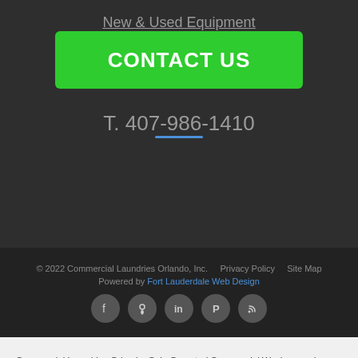New & Used Equipment
CONTACT US
T. 407-986-1410
© 2022 Commercial Laundries Orlando, Inc.    Privacy Policy    Site Map
Powered by Fort Lauderdale Web Design
[Figure (infographic): Social media icons row: Facebook, Location/Map, LinkedIn, Pinterest, RSS]
Commercial Laundries Orlando, Coin Operated Commercial Washers and Commercial Dryers Orlando. Phone: (407) 986-1410, Website: Commercial Laundries Orlando